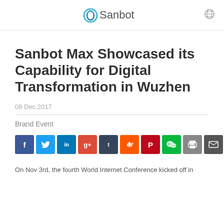Sanbot
Sanbot Max Showcased its Capability for Digital Transformation in Wuzhen
08 Dec.2017
Brand Event
[Figure (infographic): Social share buttons: Facebook, Twitter, LinkedIn, Google+, Tumblr, Reddit, Pinterest, WeChat, Print, Email, More]
On Nov 3rd, the fourth World Internet Conference kicked off in